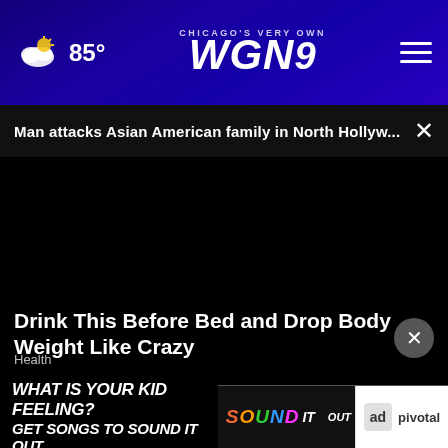CHICAGO'S VERY OWN WGN 9 | Weather: 85°
Man attacks Asian American family in North Hollyw...
[Figure (screenshot): Black video player area with progress bar and video controls showing 00:00 timestamp]
Drink This Before Bed and Drop Body Weight Like Crazy
Health
[Figure (advertisement): Ad banner reading WHAT IS YOUR KID FEELING? GET SONGS TO SOUND IT OUT. with Sound It Out and Ad Council / Pivotal logos]